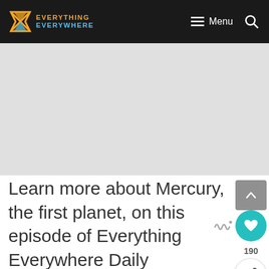Everything Everywhere — Menu
[Figure (screenshot): Gray advertisement placeholder area]
Learn more about Mercury, the first planet, on this episode of Everything Everywhere Daily